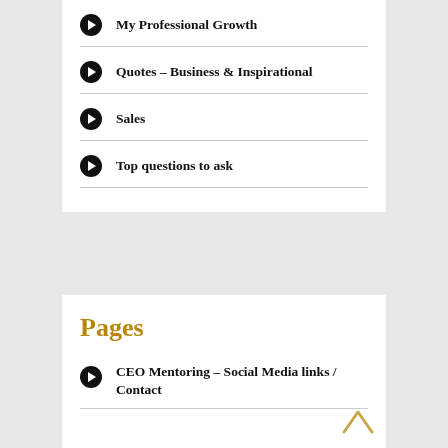My Professional Growth
Quotes – Business & Inspirational
Sales
Top questions to ask
Pages
CEO Mentoring – Social Media links / Contact